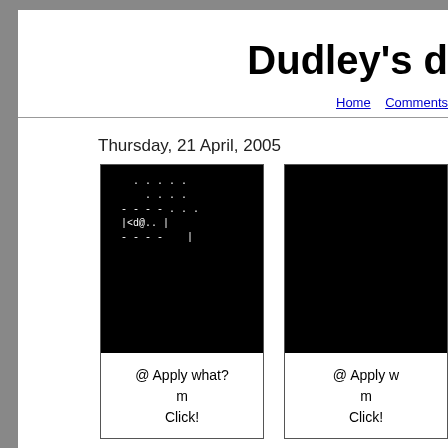Dudley's d
Home   Comments
Thursday, 21 April, 2005
[Figure (screenshot): Two side-by-side black panels showing ASCII art roguelike game screenshots with text characters like |<d@..|  and |<d@w~|, below each panel is white area with text '@ Apply what? m Click!']
@ Apply what?
m
Click!
@ Apply w
m
Click!